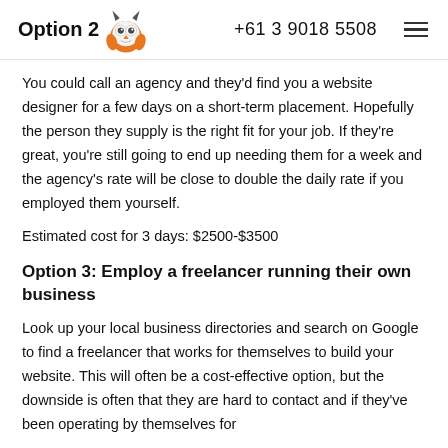Option 2  +61 3 9018 5508
You could call an agency and they'd find you a website designer for a few days on a short-term placement. Hopefully the person they supply is the right fit for your job. If they're great, you're still going to end up needing them for a week and the agency's rate will be close to double the daily rate if you employed them yourself.
Estimated cost for 3 days: $2500-$3500
Option 3: Employ a freelancer running their own business
Look up your local business directories and search on Google to find a freelancer that works for themselves to build your website. This will often be a cost-effective option, but the downside is often that they are hard to contact and if they've been operating by themselves for